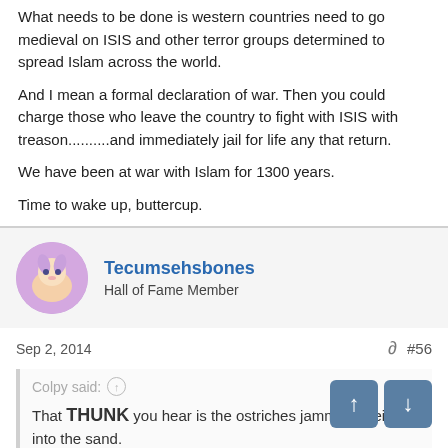What needs to be done is western countries need to go medieval on ISIS and other terror groups determined to spread Islam across the world.
And I mean a formal declaration of war. Then you could charge those who leave the country to fight with ISIS with treason..........and immediately jail for life any that return.
We have been at war with Islam for 1300 years.
Time to wake up, buttercup.
Tecumsehsbones
Hall of Fame Member
Sep 2, 2014  #56
Colpy said:
That THUNK you hear is the ostriches jamming their he...a...into the sand.